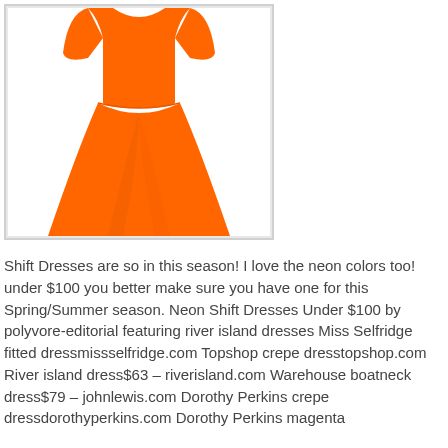[Figure (photo): An orange/neon shift dress with short sleeves and a flared skirt, displayed on a white background within a light gray framed box.]
Shift Dresses are so in this season! I love the neon colors too! under $100 you better make sure you have one for this Spring/Summer season. Neon Shift Dresses Under $100 by polyvore-editorial featuring river island dresses Miss Selfridge fitted dressmissselfridge.com Topshop crepe dresstopshop.com River island dress$63 – riverisland.com Warehouse boatneck dress$79 – johnlewis.com Dorothy Perkins crepe dressdorothyperkins.com Dorothy Perkins magenta